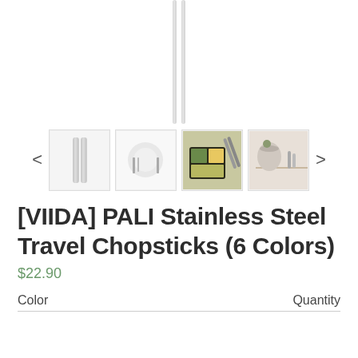[Figure (photo): Main product image showing stainless steel chopsticks from top, white background]
[Figure (photo): Thumbnail carousel with 4 product images: chopstick pair in case, place setting, bento box with chopsticks in hand, cup and chopstick on table. Navigation arrows on left and right.]
[VIIDA] PALI Stainless Steel Travel Chopsticks (6 Colors)
$22.90
Color
Quantity